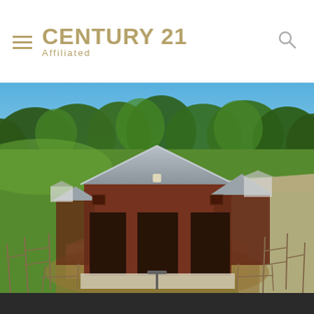CENTURY 21 Affiliated
[Figure (photo): Aerial drone photo of a large red metal barn/stable building with a peaked roof and multiple open bays, surrounded by green grass, fenced paddocks, a gravel driveway, and lush trees in the background under a clear blue sky.]